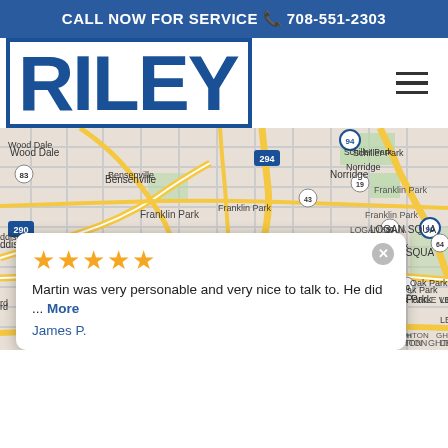CALL NOW FOR SERVICE 📞 708-551-2303
RILEY
[Figure (map): Google Maps view of western Chicago suburbs including Wood Dale, Bensenville, Schiller Park, Norridge, Elmhurst, Melrose Park, Oak Park, Maywood, Oakbrook, and surrounding areas with highway routes 290, 294, 88, 90, 94 visible.]
Martin was very personable and very nice to talk to. He did ... More
James P.